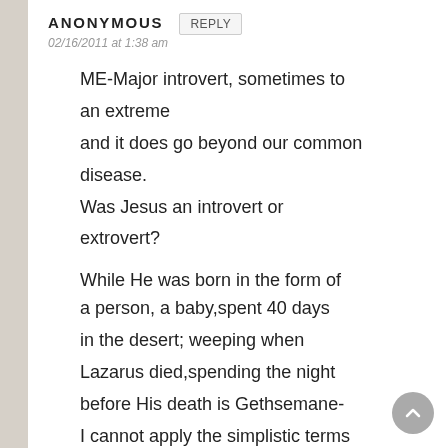ANONYMOUS
02/16/2011 at 1:38 am
ME-Major introvert, sometimes to an extreme and it does go beyond our common disease.
Was Jesus an introvert or extrovert?

While He was born in the form of a person, a baby,spent 40 days in the desert; weeping when Lazarus died,spending the night before His death is Gethsemane- I cannot apply the simplistic terms